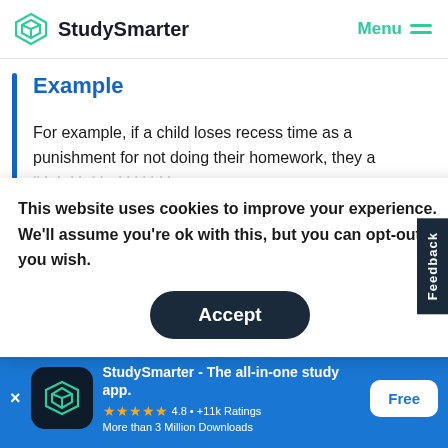StudySmarter   Menu
Example
For example, if a child loses recess time as a punishment for not doing their homework, they a…
This website uses cookies to improve your experience. We'll assume you're ok with this, but you can opt-out if you wish.
Accept
Feedback
StudySmarter - The all-in-one study app.
★★★★★  4.8 • +11k Ratings
More than 3 Million Downloads
Free